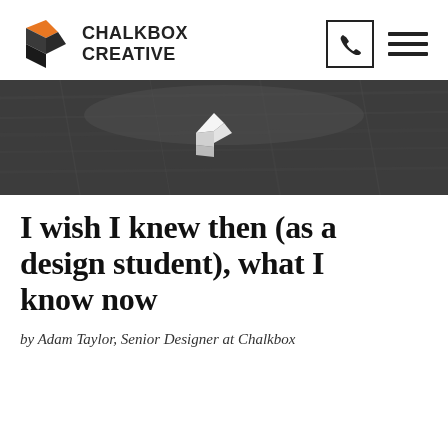[Figure (logo): Chalkbox Creative logo with orange geometric icon and bold black text]
[Figure (photo): Dark banner image with Chalkbox Creative white logo icon centered on a dark textured wood background]
I wish I knew then (as a design student), what I know now
by Adam Taylor, Senior Designer at Chalkbox